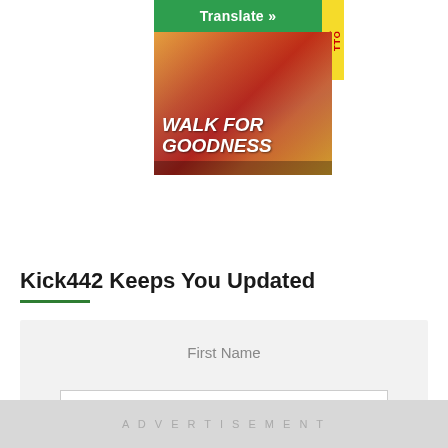[Figure (illustration): Movie poster for 'Walk For Goodness' with a green 'Translate »' bar at the top, showing people on a colorful red/orange/yellow background with bold white italic text reading 'WALK FOR GOODNESS']
Kick442 Keeps You Updated
First Name
[Figure (screenshot): A form input field (white rectangle) for entering a first name]
ADVERTISEMENT